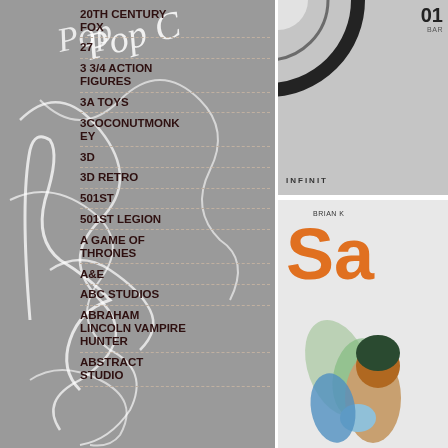20TH CENTURY FOX
27
3 3/4 ACTION FIGURES
3A TOYS
3COCONUTMONKEY
3D
3D RETRO
501ST
501ST LEGION
A GAME OF THRONES
A&E
ABC STUDIOS
ABRAHAM LINCOLN VAMPIRE HUNTER
ABSTRACT STUDIO
[Figure (illustration): Decorative white hand-drawn script lettering overlay on gray background, artistic calligraphic style]
[Figure (illustration): Top right gray box with circular vinyl record graphic and '01' number label and 'INFINIT' text at bottom]
[Figure (illustration): Bottom right: Saga comic book cover showing orange 'Sa' letters with 'BRIAN K' text and illustrated character with wings holding a baby]